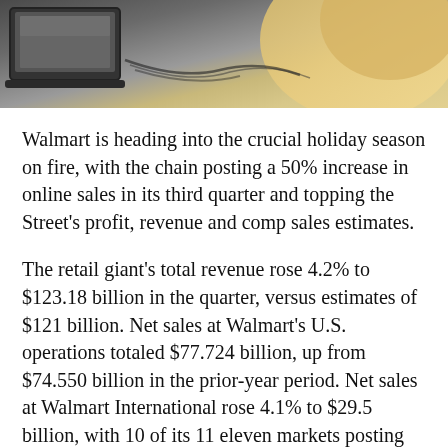[Figure (photo): Photo showing a laptop and what appears to be a person with blonde hair in the background]
Walmart is heading into the crucial holiday season on fire, with the chain posting a 50% increase in online sales in its third quarter and topping the Street's profit, revenue and comp sales estimates.
The retail giant's total revenue rose 4.2% to $123.18 billion in the quarter, versus estimates of $121 billion. Net sales at Walmart's U.S. operations totaled $77.724 billion, up from $74.550 billion in the prior-year period. Net sales at Walmart International rose 4.1% to $29.5 billion, with 10 of its 11 eleven markets posting positive comp sales.
Same-store sales for U.S. stores, excluding fuel,